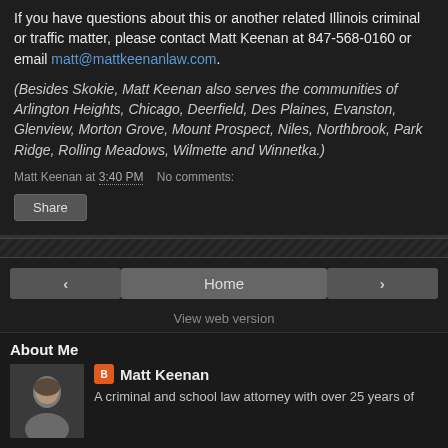If you have questions about this or another related Illinois criminal or traffic matter, please contact Matt Keenan at 847-568-0160 or email matt@mattkeenanlaw.com.
(Besides Skokie, Matt Keenan also serves the communities of Arlington Heights, Chicago, Deerfield, Des Plaines, Evanston, Glenview, Morton Grove, Mount Prospect, Niles, Northbrook, Park Ridge, Rolling Meadows, Wilmette and Winnetka.)
Matt Keenan at 3:40 PM   No comments:
Share
Home
View web version
About Me
Matt Keenan
A criminal and school law attorney with over 25 years of